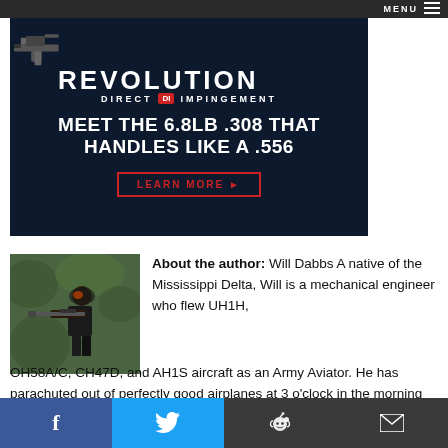MENU
[Figure (photo): Dark navy blue advertisement banner for 'Revolution Direct Impingement' featuring AR-style rifle silhouette, text 'MEET THE 6.8LB .308 THAT HANDLES LIKE A .556', and a red 'LEARN MORE' button]
[Figure (photo): Author photo: person in black attire shooting a rifle outdoors, green foliage in background]
About the author: Will Dabbs A native of the Mississippi Delta, Will is a mechanical engineer who flew UH1H, OH58A/C, CH47D, and AH1S aircraft as an Army Aviator. He has parachuted out of perfectly good airplanes at 3 o'clock in the morning and summited Mount McKinley, the controls of an Army way sensible folk climb
f  [Twitter]  [Reddit]  [Email]